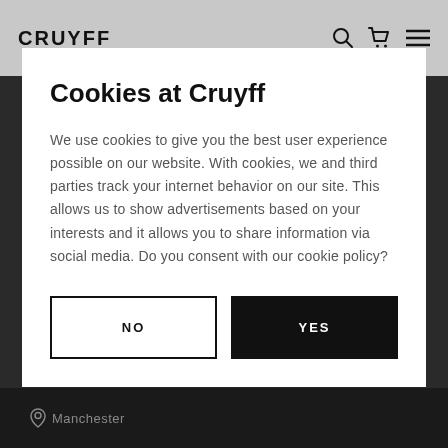CRUYFF
Cookies at Cruyff
We use cookies to give you the best user experience possible on our website. With cookies, we and third parties track your internet behavior on our site. This allows us to show advertisements based on your interests and it allows you to share information via social media. Do you consent with our cookie policy?
NO
YES
Manchester